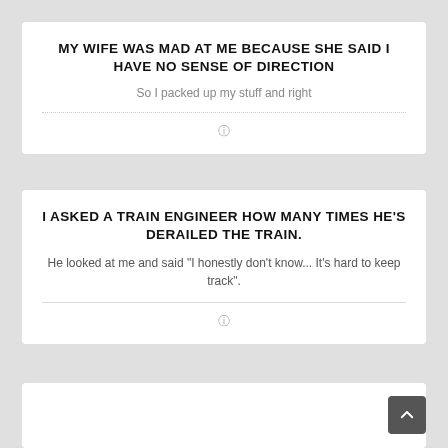MY WIFE WAS MAD AT ME BECAUSE SHE SAID I HAVE NO SENSE OF DIRECTION
So I packed up my stuff and right
I ASKED A TRAIN ENGINEER HOW MANY TIMES HE'S DERAILED THE TRAIN.
He looked at me and said "I honestly don't know... It's hard to keep track".